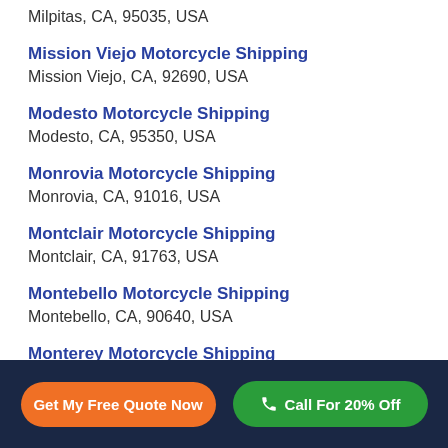Milpitas, CA, 95035, USA
Mission Viejo Motorcycle Shipping
Mission Viejo, CA, 92690, USA
Modesto Motorcycle Shipping
Modesto, CA, 95350, USA
Monrovia Motorcycle Shipping
Monrovia, CA, 91016, USA
Montclair Motorcycle Shipping
Montclair, CA, 91763, USA
Montebello Motorcycle Shipping
Montebello, CA, 90640, USA
Monterey Motorcycle Shipping
Monterey, CA, 93940, USA
Get My Free Quote Now | Call For 20% Off